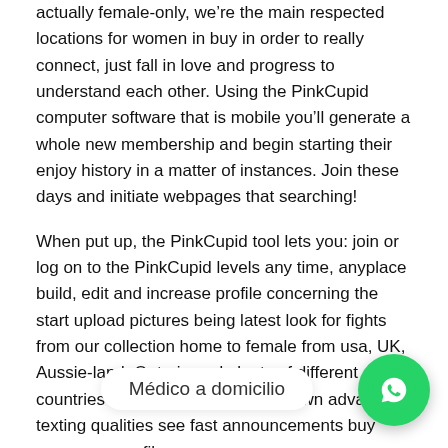actually female-only, we're the main respected locations for women in buy in order to really connect, just fall in love and progress to understand each other. Using the PinkCupid computer software that is mobile you'll generate a whole new membership and begin starting their enjoy history in a matter of instances. Join these days and initiate webpages that searching!
When put up, the PinkCupid tool lets you: join or log on to the PinkCupid levels any time, anyplace build, edit and increase profile concerning the start upload pictures being latest look for fights from our collection home to female from usa, UK, Aussie-land, Ontario and plenty of different countries correspond via our very own advanced texting qualities see fast announcements buy some new profile
PinkCupid is actually a well-established Cupid Media method that operates over 30
Médico a domicilio